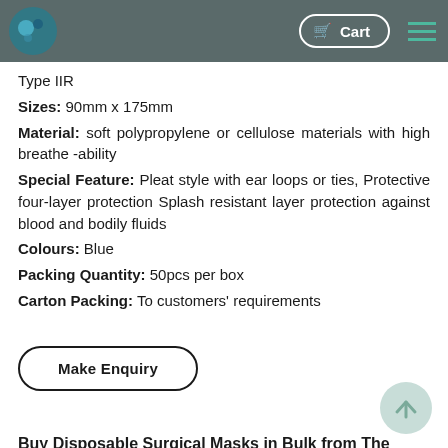Type IIR
Sizes: 90mm x 175mm
Material: soft polypropylene or cellulose materials with high breathe -ability
Special Feature: Pleat style with ear loops or ties, Protective four-layer protection Splash resistant layer protection against blood and bodily fluids
Colours: Blue
Packing Quantity: 50pcs per box
Carton Packing: To customers' requirements
[Figure (other): Make Enquiry button with rounded rectangle border]
Buy Disposable Surgical Masks in Bulk from The BEFH Consortium
[Figure (other): Call Now button in teal/green color with phone icon]